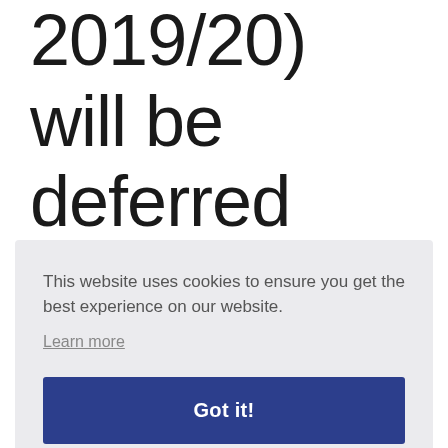2019/20) will be deferred until the 31 January 2021. This also will also receive
[Figure (screenshot): Cookie consent overlay with message 'This website uses cookies to ensure you get the best experience on our website.' with a 'Learn more' link and a 'Got it!' button on a light grey background.]
g